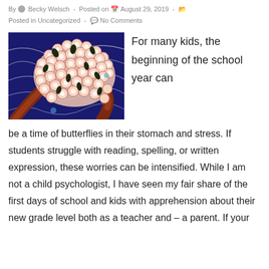By Becky Welsch - Posted on August 29, 2019 -
Posted in Uncategorized - No Comments
[Figure (illustration): Colorful artistic illustration showing a cluster of circular cells or flowers in pink on a dark navy blue background with white flowing lines and dark seed-like shapes interspersed, with a swirling brown/red form.]
For many kids, the beginning of the school year can be a time of butterflies in their stomach and stress. If students struggle with reading, spelling, or written expression, these worries can be intensified. While I am not a child psychologist, I have seen my fair share of the first days of school and kids with apprehension about their new grade level both as a teacher and – a parent. If your